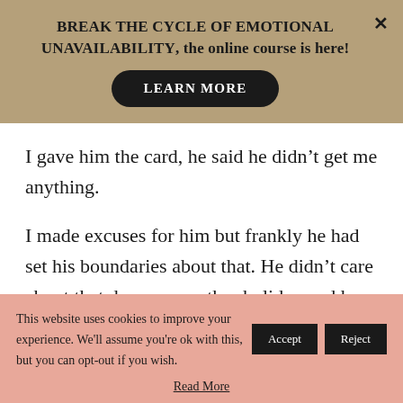BREAK THE CYCLE OF EMOTIONAL UNAVAILABILITY, the online course is here!
LEARN MORE
I gave him the card, he said he didn’t get me anything.
I made excuses for him but frankly he had set his boundaries about that. He didn’t care about that day or any other holiday and he was telling me
This website uses cookies to improve your experience. We'll assume you're ok with this, but you can opt-out if you wish.
Read More